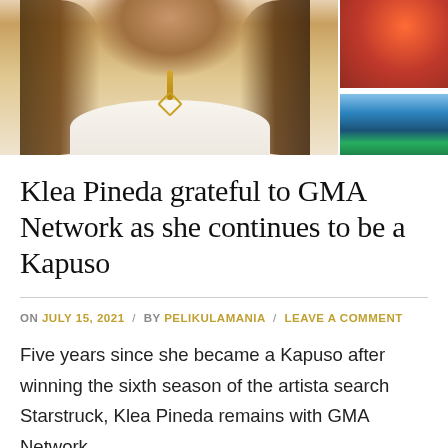[Figure (photo): Photo of a young woman with long brown wavy hair wearing a white off-shoulder top and a gold cross necklace, with decorative photos visible in the background on the right side]
Klea Pineda grateful to GMA Network as she continues to be a Kapuso
ON JULY 15, 2021 / BY PELIKULAMANIA / LEAVE A COMMENT
Five years since she became a Kapuso after winning the sixth season of the artista search Starstruck, Klea Pineda remains with GMA Network